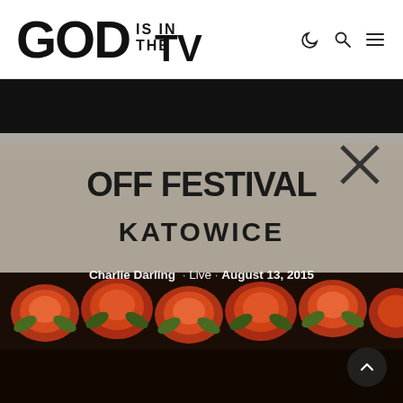GOD IS IN THE TV
[Figure (photo): Off Festival Katowice banner with illuminated flower decorations in the foreground, dark background. Text overlay reads: Charlie Darling · Live · August 13, 2015]
Charlie Darling · Live · August 13, 2015